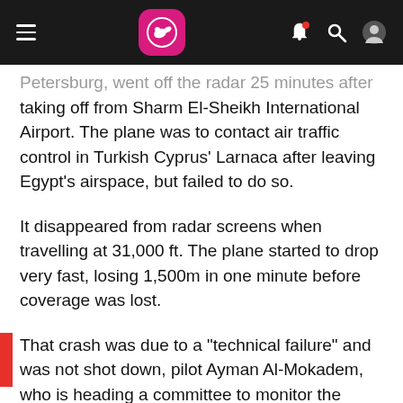Navigation bar with hamburger menu, Lufthansa-style logo, bell, search, and profile icons
Petersburg, went off the radar 25 minutes after taking off from Sharm El-Sheikh International Airport. The plane was to contact air traffic control in Turkish Cyprus' Larnaca after leaving Egypt's airspace, but failed to do so.
It disappeared from radar screens when travelling at 31,000 ft. The plane started to drop very fast, losing 1,500m in one minute before coverage was lost.
That crash was due to a "technical failure" and was not shot down, pilot Ayman Al-Mokadem, who is heading a committee to monitor the crash's aftermath, stated.